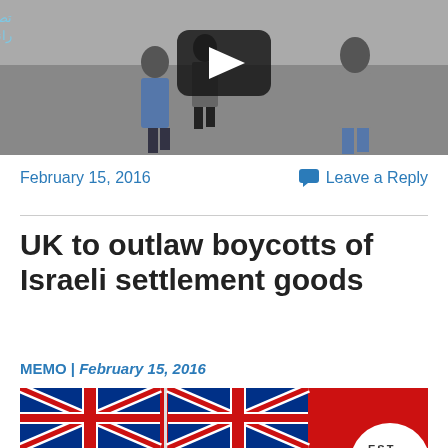[Figure (screenshot): Video thumbnail showing people walking, with Arabic text overlay and a YouTube-style play button]
February 15, 2016
Leave a Reply
UK to outlaw boycotts of Israeli settlement goods
MEMO | February 15, 2016
[Figure (photo): Red Ensign / British flag image with EST text circle partially visible]